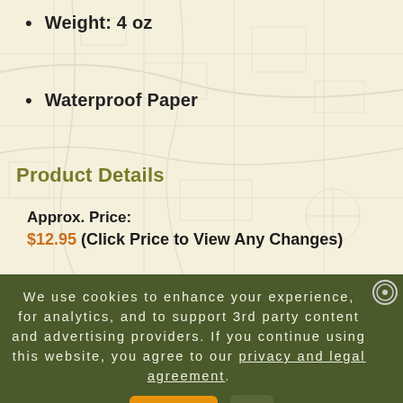Weight: 4 oz
Waterproof Paper
Product Details
Approx. Price:
$12.95 (Click Price to View Any Changes)
Sale Price:
Brand:
Voyageur Maps
UPC:
VMap5
Manufacture ID:
We use cookies to enhance your experience, for analytics, and to support 3rd party content and advertising providers. If you continue using this website, you agree to our privacy and legal agreement.